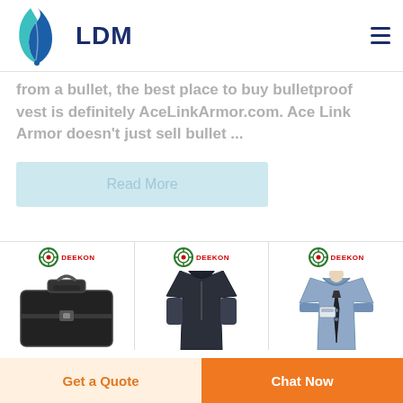[Figure (logo): LDM logo with teal leaf/droplet icon and dark blue LDM text]
from a bullet, the best place to buy bulletproof vest is definitely AceLinkArmor.com. Ace Link Armor doesn't just sell bullet ...
Read More
[Figure (photo): Three product cards with DEEKON branding: a black hard case/briefcase, a dark tactical shirt/jacket, and a light blue security guard uniform shirt with tie]
Get a Quote
Chat Now